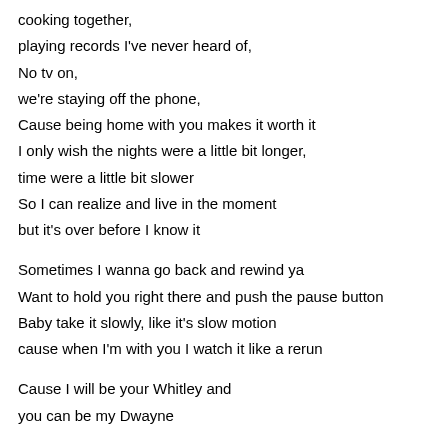cooking together,
playing records I've never heard of,
No tv on,
we're staying off the phone,
Cause being home with you makes it worth it
I only wish the nights were a little bit longer,
time were a little bit slower
So I can realize and live in the moment
but it's over before I know it
Sometimes I wanna go back and rewind ya
Want to hold you right there and push the pause button
Baby take it slowly, like it's slow motion
cause when I'm with you I watch it like a rerun
Cause I will be your Whitley and
you can be my Dwayne